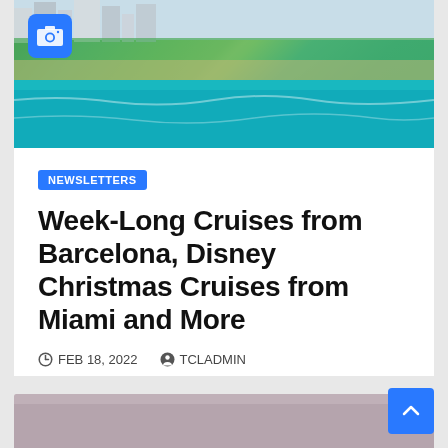[Figure (photo): Aerial view of Miami Beach coastline with turquoise ocean water, sandy beach, and tall buildings]
NEWSLETTERS
Week-Long Cruises from Barcelona, Disney Christmas Cruises from Miami and More
FEB 18, 2022   TCLADMIN
All the news that's fit to read about cruises from Miami, Galveston and Barcelona